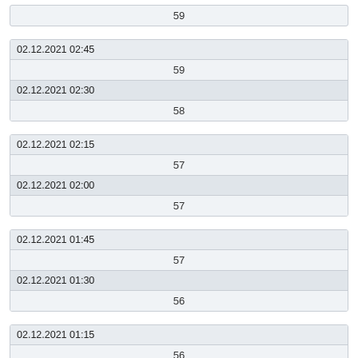|  |
| --- |
| 59 |
| 02.12.2021 02:45 |
| --- |
| 59 |
| 02.12.2021 02:30 |
| 58 |
| 02.12.2021 02:15 |
| --- |
| 57 |
| 02.12.2021 02:00 |
| 57 |
| 02.12.2021 01:45 |
| --- |
| 57 |
| 02.12.2021 01:30 |
| 56 |
| 02.12.2021 01:15 |
| --- |
| 56 |